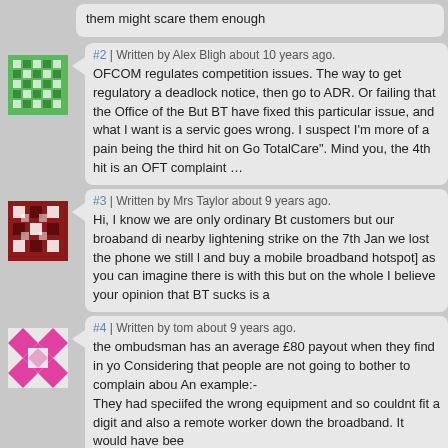them might scare them enough
#2 | Written by Alex Bligh about 10 years ago.
OFCOM regulates competition issues. The way to get regulatory a deadlock notice, then go to ADR. Or failing that the Office of the But BT have fixed this particular issue, and what I want is a servic goes wrong. I suspect I'm more of a pain being the third hit on Go TotalCare". Mind you, the 4th hit is an OFT complaint …
#3 | Written by Mrs Taylor about 9 years ago.
Hi, I know we are only ordinary Bt customers but our broaband di nearby lightening strike on the 7th Jan we lost the phone we still l and buy a mobile broadband hotspot] as you can imagine there is with this but on the whole I believe your opinion that BT sucks is a
#4 | Written by tom about 9 years ago.
the ombudsman has an average £80 payout when they find in yo Considering that people are not going to bother to complain abou An example:- They had speciifed the wrong equipment and so couldnt fit a digit and also a remote worker down the broadband. It would have bee